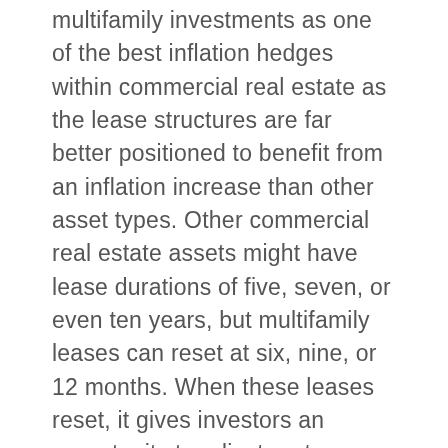multifamily investments as one of the best inflation hedges within commercial real estate as the lease structures are far better positioned to benefit from an inflation increase than other asset types. Other commercial real estate assets might have lease durations of five, seven, or even ten years, but multifamily leases can reset at six, nine, or 12 months. When these leases reset, it gives investors an opportunity to adjust rents as prices increase.
It is essential to remember that multifamily real estate is a necessity-based asset. The primary purpose is to provide shelter. Moving is costly and time consuming and with dwindling alternatives in the home buying market, opting